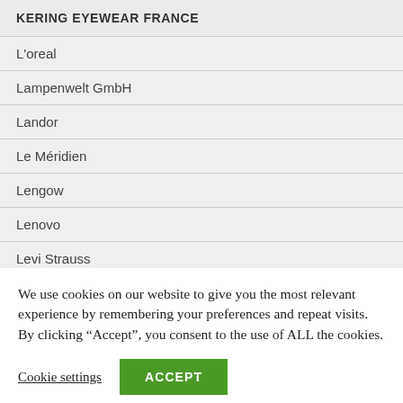KERING EYEWEAR FRANCE
L'oreal
Lampenwelt GmbH
Landor
Le Méridien
Lengow
Lenovo
Levi Strauss
Limelight Nova
We use cookies on our website to give you the most relevant experience by remembering your preferences and repeat visits. By clicking “Accept”, you consent to the use of ALL the cookies.
Cookie settings
ACCEPT